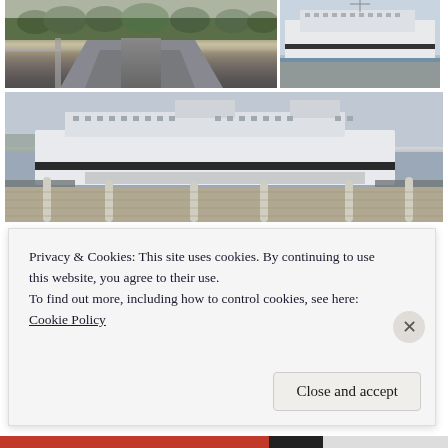[Figure (photo): Road leading through forested landscape, overcast sky, guardrails visible on left]
[Figure (photo): Washington State ferry at dock, white multi-deck vessel, overcast sky]
[Figure (photo): Washington State ferry docked at terminal, wide view with wooden pier pilings in foreground, overcast sky]
[Figure (photo): Partial view of interior scene, partially obscured by cookie consent overlay]
Privacy & Cookies: This site uses cookies. By continuing to use this website, you agree to their use.
To find out more, including how to control cookies, see here:
Cookie Policy
Close and accept